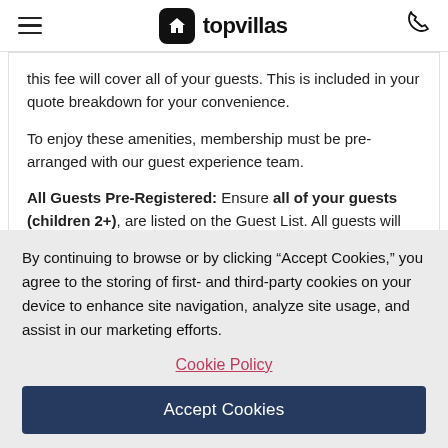topvillas
this fee will cover all of your guests. This is included in your quote breakdown for your convenience.
To enjoy these amenities, membership must be pre-arranged with our guest experience team.
All Guests Pre-Registered: Ensure all of your guests (children 2+), are listed on the Guest List. All guests will then be registered with the Reunion Resort Front desk.
By continuing to browse or by clicking “Accept Cookies,” you agree to the storing of first- and third-party cookies on your device to enhance site navigation, analyze site usage, and assist in our marketing efforts.
Cookie Policy
Accept Cookies